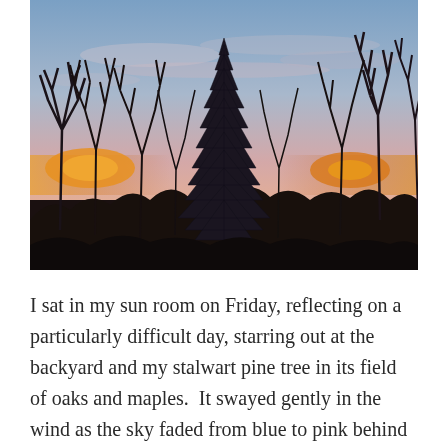[Figure (photo): A winter sunset landscape showing bare deciduous trees and a central evergreen pine tree silhouetted against a pink and blue sky with orange glow near the horizon. The foreground is dark shrubs and undergrowth.]
I sat in my sun room on Friday, reflecting on a particularly difficult day, starring out at the backyard and my stalwart pine tree in its field of oaks and maples.  It swayed gently in the wind as the sky faded from blue to pink behind it.